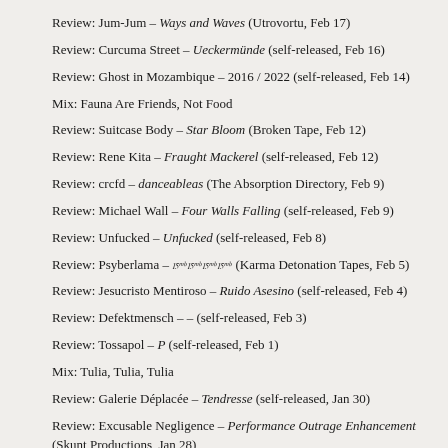Review: Jum-Jum – Ways and Waves (Utrovortu, Feb 17)
Review: Curcuma Street – Ueckermünde (self-released, Feb 16)
Review: Ghost in Mozambique – 2016 / 2022 (self-released, Feb 14)
Mix: Fauna Are Friends, Not Food
Review: Suitcase Body – Star Bloom (Broken Tape, Feb 12)
Review: Rene Kita – Fraught Mackerel (self-released, Feb 12)
Review: crcfd – danceableas (The Absorption Directory, Feb 9)
Review: Michael Wall – Four Walls Falling (self-released, Feb 9)
Review: Unfucked – Unfucked (self-released, Feb 8)
Review: Psyberlama – 𝄹𝄹𝄹𝄹 (Karma Detonation Tapes, Feb 5)
Review: Jesucristo Mentiroso – Ruido Asesino (self-released, Feb 4)
Review: Defektmensch – – (self-released, Feb 3)
Review: Tossapol – P (self-released, Feb 1)
Mix: Tulia, Tulia, Tulia
Review: Galerie Déplacée – Tendresse (self-released, Jan 30)
Review: Excusable Negligence – Performance Outrage Enhancement (Skunt Productions, Jan 28)
Review: Breathe Heavy – Hypothermia (Cruel Symphonies, Jan 28)